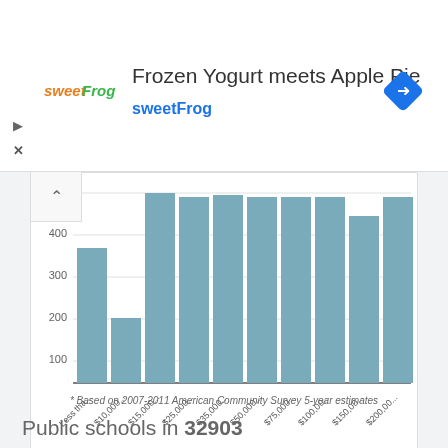[Figure (logo): sweetFrog logo and ad banner with text 'Frozen Yogurt meets Apple Pie' and 'sweetFrog']
[Figure (bar-chart): Income distribution bar chart]
* Based on 2007-2011 American Community Survey 5-year estimates
Public schools in 32903